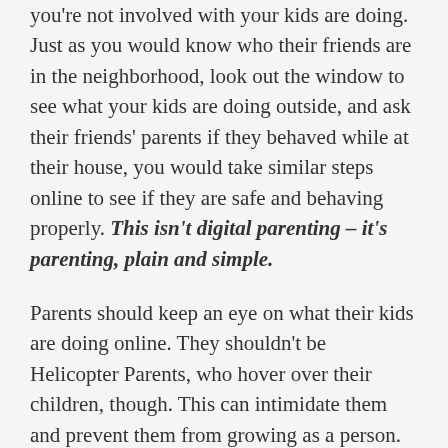you're not involved with your kids are doing. Just as you would know who their friends are in the neighborhood, look out the window to see what your kids are doing outside, and ask their friends' parents if they behaved while at their house, you would take similar steps online to see if they are safe and behaving properly. This isn't digital parenting – it's parenting, plain and simple.
Parents should keep an eye on what their kids are doing online. They shouldn't be Helicopter Parents, who hover over their children, though. This can intimidate them and prevent them from growing as a person. It's